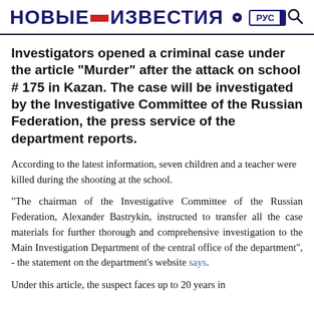НОВЫЕ ИЗВЕСТИЯ — РУС ENG
Investigators opened a criminal case under the article "Murder" after the attack on school # 175 in Kazan. The case will be investigated by the Investigative Committee of the Russian Federation, the press service of the department reports.
According to the latest information, seven children and a teacher were killed during the shooting at the school.
"The chairman of the Investigative Committee of the Russian Federation, Alexander Bastrykin, instructed to transfer all the case materials for further thorough and comprehensive investigation to the Main Investigation Department of the central office of the department", - the statement on the department's website says.
Under this article, the suspect faces up to 20 years in